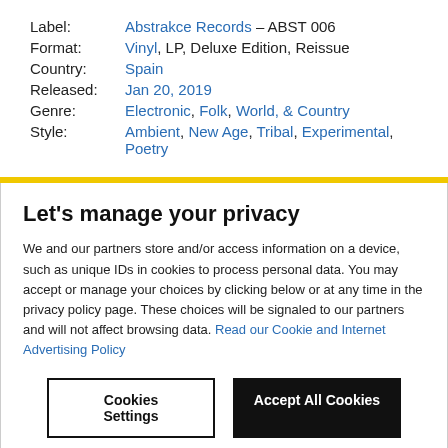Label: Abstrakce Records – ABST 006
Format: Vinyl, LP, Deluxe Edition, Reissue
Country: Spain
Released: Jan 20, 2019
Genre: Electronic, Folk, World, & Country
Style: Ambient, New Age, Tribal, Experimental, Poetry
Let's manage your privacy
We and our partners store and/or access information on a device, such as unique IDs in cookies to process personal data. You may accept or manage your choices by clicking below or at any time in the privacy policy page. These choices will be signaled to our partners and will not affect browsing data. Read our Cookie and Internet Advertising Policy
Cookies Settings
Accept All Cookies